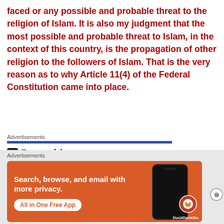faced or any possible and probable threat to the religion of Islam. It is also my judgment that the most possible and probable threat to Islam, in the context of this country, is the propagation of other religion to the followers of Islam. That is the very reason as to why Article 11(4) of the Federal Constitution came into place.
Advertisements
[Figure (screenshot): Pressable advertisement with logo and dots]
Advertisements
[Figure (screenshot): DuckDuckGo advertisement: Search, browse, and email with more privacy. All in One Free App.]